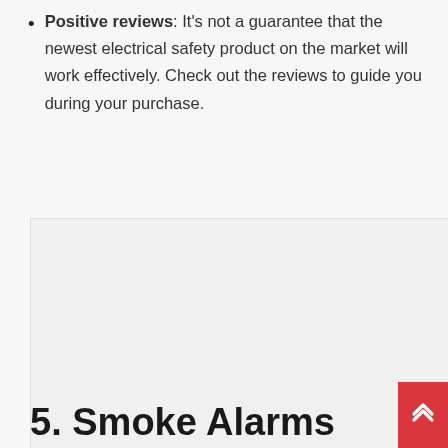Positive reviews: It's not a guarantee that the newest electrical safety product on the market will work effectively. Check out the reviews to guide you during your purchase.
[Figure (other): Loading spinner (image placeholder) inside a light gray bordered box]
5. Smoke Alarms